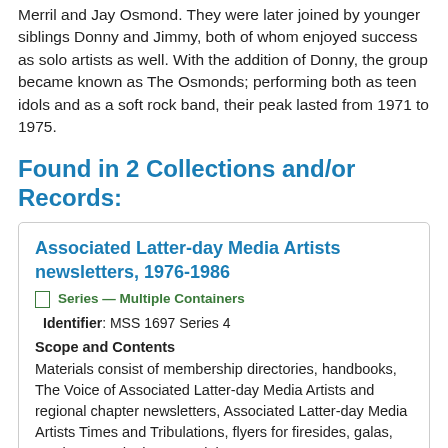Merril and Jay Osmond. They were later joined by younger siblings Donny and Jimmy, both of whom enjoyed success as solo artists as well. With the addition of Donny, the group became known as The Osmonds; performing both as teen idols and as a soft rock band, their peak lasted from 1971 to 1975.
Found in 2 Collections and/or Records:
Associated Latter-day Media Artists newsletters, 1976-1986
Series — Multiple Containers
Identifier: MSS 1697 Series 4
Scope and Contents
Materials consist of membership directories, handbooks, The Voice of Associated Latter-day Media Artists and regional chapter newsletters, Associated Latter-day Media Artists Times and Tribulations, flyers for firesides, galas, seminars, and other materials, 1976-1984.